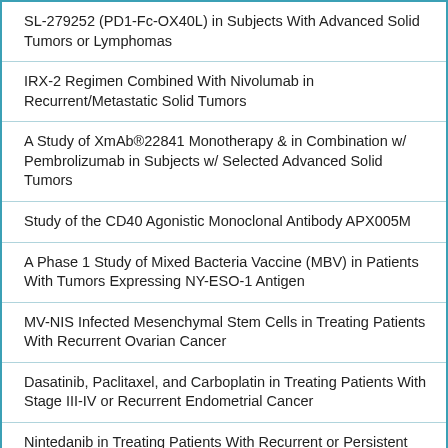| SL-279252 (PD1-Fc-OX40L) in Subjects With Advanced Solid Tumors or Lymphomas |
| IRX-2 Regimen Combined With Nivolumab in Recurrent/Metastatic Solid Tumors |
| A Study of XmAb®22841 Monotherapy & in Combination w/ Pembrolizumab in Subjects w/ Selected Advanced Solid Tumors |
| Study of the CD40 Agonistic Monoclonal Antibody APX005M |
| A Phase 1 Study of Mixed Bacteria Vaccine (MBV) in Patients With Tumors Expressing NY-ESO-1 Antigen |
| MV-NIS Infected Mesenchymal Stem Cells in Treating Patients With Recurrent Ovarian Cancer |
| Dasatinib, Paclitaxel, and Carboplatin in Treating Patients With Stage III-IV or Recurrent Endometrial Cancer |
| Nintedanib in Treating Patients With Recurrent or Persistent |